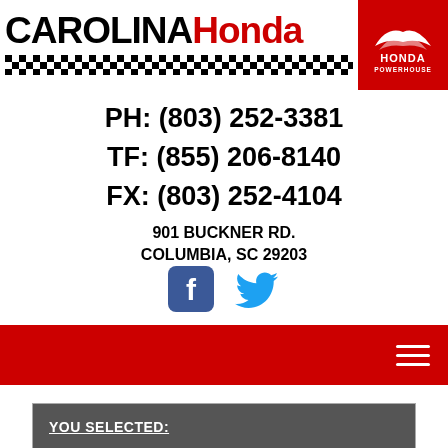[Figure (logo): Carolina Honda logo with checkered bar and Honda Powerhouse badge]
PH: (803) 252-3381
TF: (855) 206-8140
FX: (803) 252-4104
901 BUCKNER RD.
COLUMBIA, SC 29203
[Figure (illustration): Facebook and Twitter social media icons]
[Figure (other): Red navigation bar with hamburger menu icon]
YOU SELECTED: